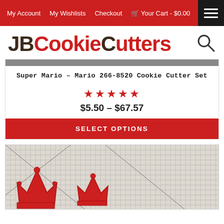My Account   My Wishlists   Checkout   🛒 Your Cart - $0.00
JBCookieCutters
Super Mario – Mario 266-8520 Cookie Cutter Set
★★★★★
$5.50 – $67.57
SELECT OPTIONS
[Figure (photo): Photo of red Super Mario crown cookie cutters on a ruled cutting mat grid background]